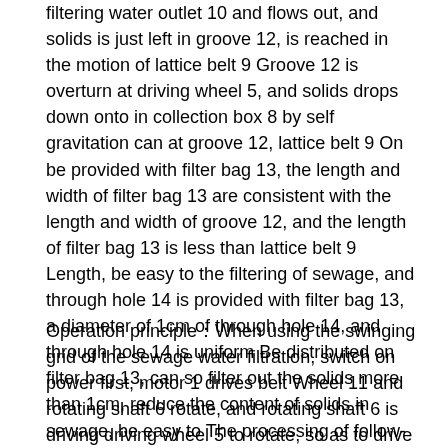filtering water outlet 10 and flows out, and solids is just left in groove 12, is reached in the motion of lattice belt 9 Groove 12 is overturn at driving wheel 5, and solids drops down onto in collection box 8 by self gravitation can at groove 12, lattice belt 9 On be provided with filter bag 13, the length and width of filter bag 13 are consistent with the length and width of groove 12, and the length of filter bag 13 is less than lattice belt 9 Length, be easy to the filtering of sewage, and through hole 14 is provided with filter bag 13, a diameter of 1cm of through hole 14, and through hole 14 is uniform Be distributed on filter bag 13, can so filter out the solids more than 1cm, reduce the content of solids in sewage, be easy to The processing of follow-up sewage, tensioning wheel 2, driven pulley 4 and driving wheel 5 are arranged at the inside of lattice belt 9.
Operation principle：When using the swinging grid of the sewage water filtration, switch on power first, motor 1 drives belt Wheel 11 and rotating shaft 6 rotate, and rotating shaft 6 is driving driving wheel 5 to rotate, so as to drive driven pulley 4, tensioning wheel 2 and lattice belt 9 to rotate, During lattice belt 9 rotates, sewage is contained into groove 12, and sewage is flowed in groove 12 by the